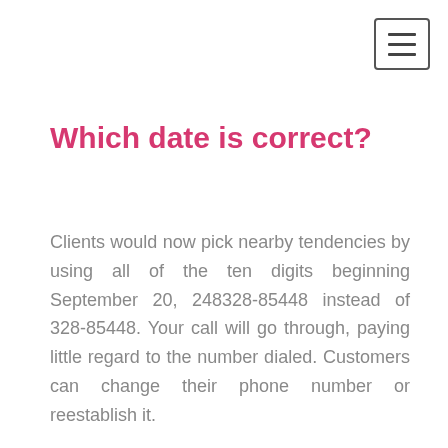[Figure (other): Hamburger menu button icon — three horizontal lines inside a bordered rectangle]
Which date is correct?
Clients would now pick nearby tendencies by using all of the ten digits beginning September 20, 248328-85448 instead of 328-85448. Your call will go through, paying little regard to the number dialed. Customers can change their phone number or reestablish it.